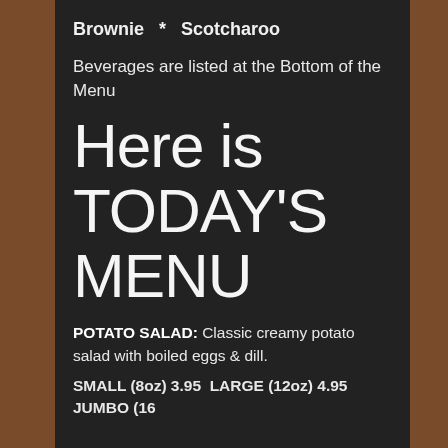Brownie   *   Scotcharoo
Beverages are listed at the Bottom of the Menu
Here is TODAY'S MENU
POTATO SALAD: Classic creamy potato salad with boiled eggs & dill.
SMALL (8oz) 3.95  LARGE (12oz) 4.95  JUMBO (16